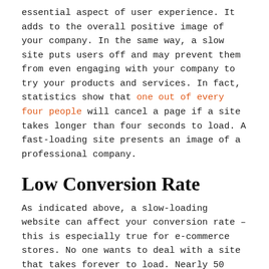essential aspect of user experience. It adds to the overall positive image of your company. In the same way, a slow site puts users off and may prevent them from even engaging with your company to try your products and services. In fact, statistics show that one out of every four people will cancel a page if a site takes longer than four seconds to load. A fast-loading site presents an image of a professional company.
Low Conversion Rate
As indicated above, a slow-loading website can affect your conversion rate – this is especially true for e-commerce stores. No one wants to deal with a site that takes forever to load. Nearly 50 percent of Americans will give up trying to access an online store if it takes longer than three seconds to load. According to Amazon, a one second lag in the loading of its store costs the company up to $1.6